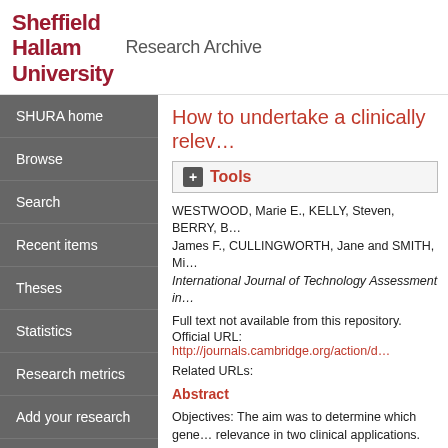[Figure (logo): Sheffield Hallam University Research Archive logo with red text and grey serif Research Archive text]
SHURA home
Browse
Search
Recent items
Theses
Statistics
Research metrics
Add your research
About SHURA
Research Data Archive
How to undertake a clinically relev…
+ Tools
WESTWOOD, Marie E., KELLY, Steven, BERRY, B… James F., CULLINGWORTH, Jane and SMITH, Mi… International Journal of Technology Assessment in…
Full text not available from this repository.
Official URL: http://journals.cambridge.org/action/d…
Related URLs:
Abstract
Objectives: The aim was to determine which gene… relevance in two clinical applications. Our purpose … effectiveness and to practicing clinicians.
Methods: Information was gathered from a search…